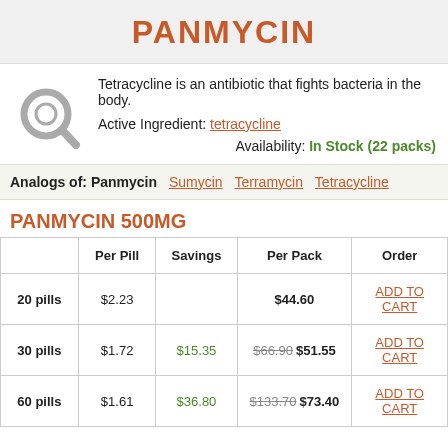PANMYCIN
Tetracycline is an antibiotic that fights bacteria in the body.
Active Ingredient: tetracycline
Availability: In Stock (22 packs)
Analogs of: Panmycin  Sumycin  Terramycin  Tetracycline
PANMYCIN 500MG
|  | Per Pill | Savings | Per Pack | Order |
| --- | --- | --- | --- | --- |
| 20 pills | $2.23 |  | $44.60 | ADD TO CART |
| 30 pills | $1.72 | $15.35 | $66.90 $51.55 | ADD TO CART |
| 60 pills | $1.61 | $36.80 | $133.70 $73.40 | ADD TO CART |